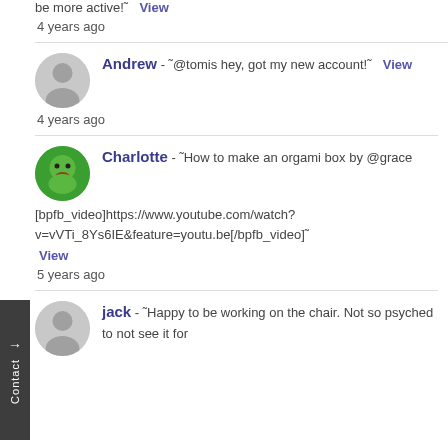be more active!" View
4 years ago
Andrew - "@tomis hey, got my new account!" View
4 years ago
Charlotte - "How to make an orgami box by @grace [bpfb_video]https://www.youtube.com/watch?v=vVTi_8Ys6IE&feature=youtu.be[/bpfb_video]" View
5 years ago
jack - "Happy to be working on the chair. Not so psyched to not see it for